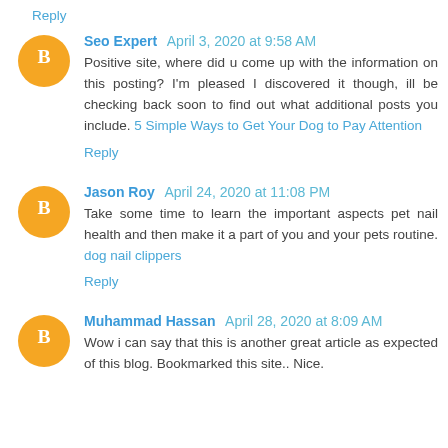Reply
Seo Expert  April 3, 2020 at 9:58 AM
Positive site, where did u come up with the information on this posting? I'm pleased I discovered it though, ill be checking back soon to find out what additional posts you include. 5 Simple Ways to Get Your Dog to Pay Attention
Reply
Jason Roy  April 24, 2020 at 11:08 PM
Take some time to learn the important aspects pet nail health and then make it a part of you and your pets routine. dog nail clippers
Reply
Muhammad Hassan  April 28, 2020 at 8:09 AM
Wow i can say that this is another great article as expected of this blog. Bookmarked this site.. Nice.